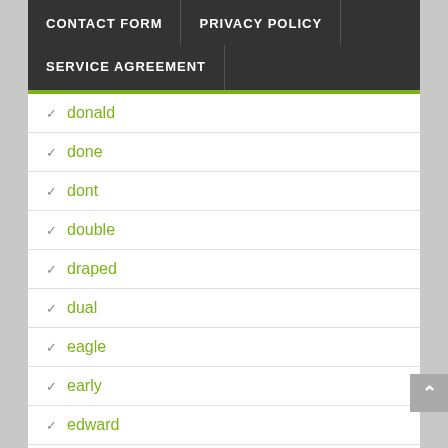CONTACT FORM | PRIVACY POLICY | SERVICE AGREEMENT
donald
done
dont
double
draped
dual
eagle
early
edward
eight
elite
emergency